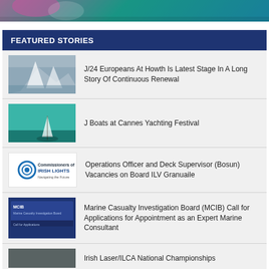[Figure (photo): Top banner with colorful background image — sailing/event photo cropped]
FEATURED STORIES
J/24 Europeans At Howth Is Latest Stage In A Long Story Of Continuous Renewal
J Boats at Cannes Yachting Festival
Operations Officer and Deck Supervisor (Bosun) Vacancies on Board ILV Granuaile
Marine Casualty Investigation Board (MCIB) Call for Applications for Appointment as an Expert Marine Consultant
Irish Laser/ILCA National Championships